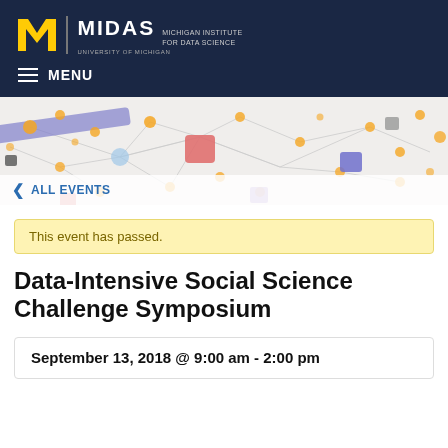[Figure (logo): MIDAS Michigan Institute for Data Science, University of Michigan logo with block M]
MENU
[Figure (illustration): Network graph banner showing interconnected nodes of various colors (orange, blue, pink, gray) on a light background]
< ALL EVENTS
This event has passed.
Data-Intensive Social Science Challenge Symposium
September 13, 2018 @ 9:00 am - 2:00 pm